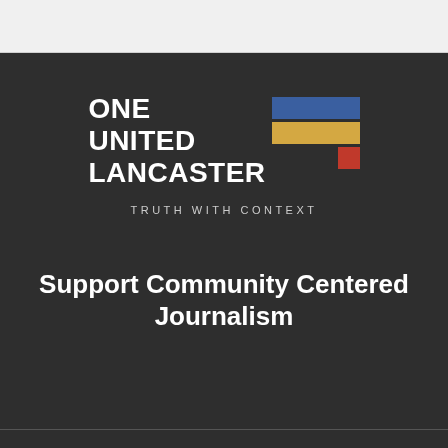[Figure (logo): One United Lancaster logo with colored rectangular blocks (blue, yellow, red) next to bold white stacked text reading ONE UNITED LANCASTER, with tagline TRUTH WITH CONTEXT below]
Support Community Centered Journalism